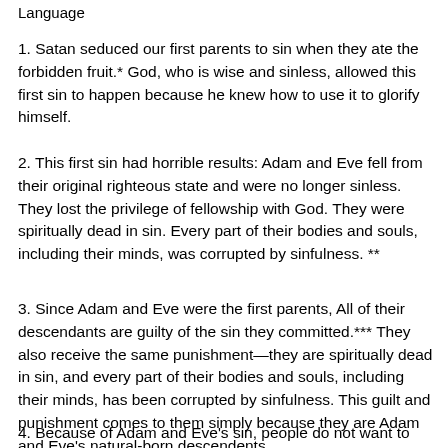Language
1. Satan seduced our first parents to sin when they ate the forbidden fruit.* God, who is wise and sinless, allowed this first sin to happen because he knew how to use it to glorify himself.
2. This first sin had horrible results: Adam and Eve fell from their original righteous state and were no longer sinless. They lost the privilege of fellowship with God. They were spiritually dead in sin. Every part of their bodies and souls, including their minds, was corrupted by sinfulness. **
3. Since Adam and Eve were the first parents, All of their descendants are guilty of the sin they committed.*** They also receive the same punishment—they are spiritually dead in sin, and every part of their bodies and souls, including their minds, has been corrupted by sinfulness. This guilt and punishment comes to them simply because they are Adam and Eve's natural-born descendents.
4. Because of Adam and Eve's sin, people do not want to